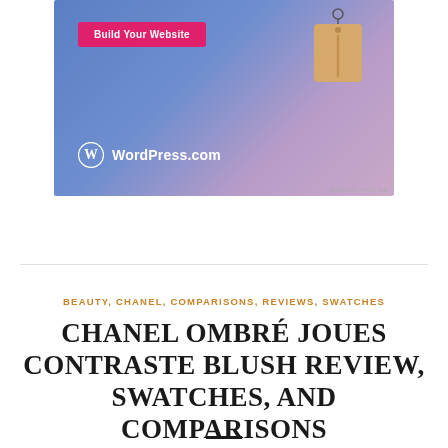[Figure (illustration): WordPress.com advertisement banner with blue-purple gradient background, a hanging price tag illustration, a pink 'Build Your Website' button, and the WordPress.com logo with wordmark]
REPORT THIS AD
BEAUTY, CHANEL, COMPARISONS, REVIEWS, SWATCHES
CHANEL OMBRÉ JOUES CONTRASTE BLUSH REVIEW, SWATCHES, AND COMPARISONS